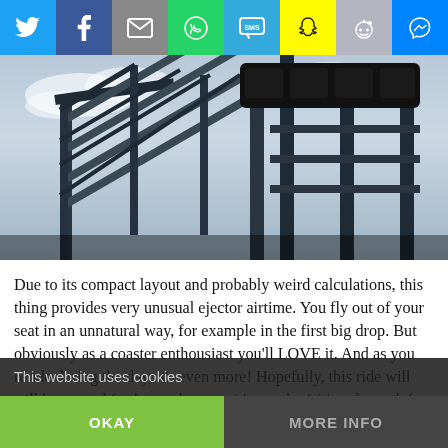[Figure (other): Social sharing bar with 8 icons: Twitter (blue), Facebook (dark blue), Email (gray), WhatsApp (green), SMS (light blue), Snapchat (yellow), Reddit (gray-blue), Messenger (blue)]
[Figure (photo): Photograph of a roller coaster structure — tall steel frame with stairs, supports and car silhouetted against a cloudy sky]
Due to its compact layout and probably weird calculations, this thing provides very unusual ejector airtime. You fly out of your seat in an unnatural way, for example in the first big drop. But obviously as a coaster enthousiast you'll LOVE it. And as you reride during the day, it's even more! Hopefully, this ride will still be around for longer because it's worth visiting the park for.
This website uses cookies
OKAY
MORE INFO